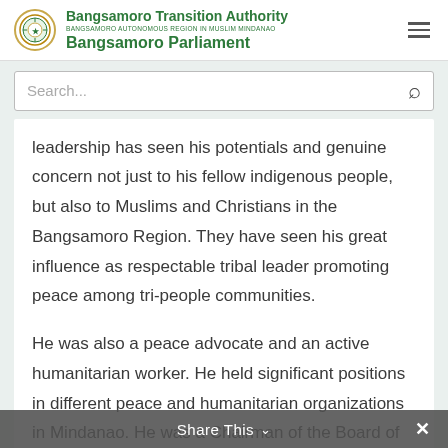Bangsamoro Transition Authority | BANGSAMORO AUTONOMOUS REGION IN MUSLIM MINDANAO | Bangsamoro Parliament
leadership has seen his potentials and genuine concern not just to his fellow indigenous people, but also to Muslims and Christians in the Bangsamoro Region. They have seen his great influence as respectable tribal leader promoting peace among tri-people communities.
He was also a peace advocate and an active humanitarian worker. He held significant positions in different peace and humanitarian organizations in Mindanao. He was a Chairman of the Board of the
Share This